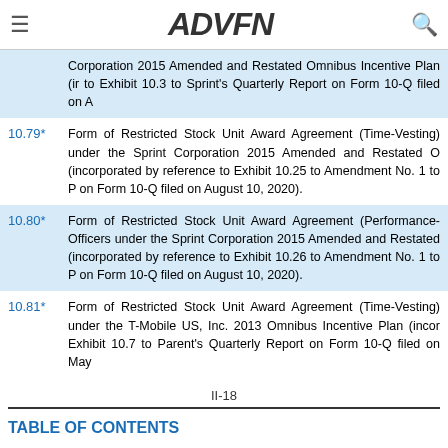ADVFN
| Exhibit No. | Description |
| --- | --- |
|  | Corporation 2015 Amended and Restated Omnibus Incentive Plan (incorporated by reference to Exhibit 10.3 to Sprint's Quarterly Report on Form 10-Q filed on A… |
| 10.79* | Form of Restricted Stock Unit Award Agreement (Time-Vesting) under the Sprint Corporation 2015 Amended and Restated O… (incorporated by reference to Exhibit 10.25 to Amendment No. 1 to P… on Form 10-Q filed on August 10, 2020). |
| 10.80* | Form of Restricted Stock Unit Award Agreement (Performance-… Officers under the Sprint Corporation 2015 Amended and Restated … (incorporated by reference to Exhibit 10.26 to Amendment No. 1 to P… on Form 10-Q filed on August 10, 2020). |
| 10.81* | Form of Restricted Stock Unit Award Agreement (Time-Vesting) under the T-Mobile US, Inc. 2013 Omnibus Incentive Plan (incor… Exhibit 10.7 to Parent's Quarterly Report on Form 10-Q filed on May… |
II-18
TABLE OF CONTENTS